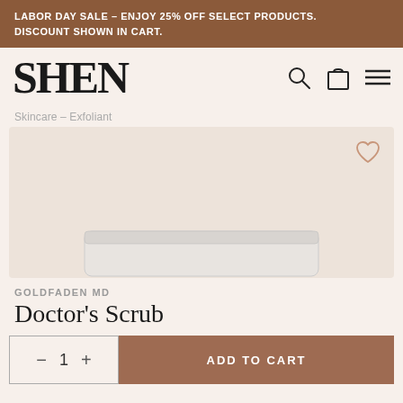LABOR DAY SALE - ENJOY 25% OFF SELECT PRODUCTS. DISCOUNT SHOWN IN CART.
[Figure (logo): SHEN logo in large serif bold black text]
Skincare – Exfoliant
[Figure (photo): Product image area showing a white jar (Doctor's Scrub) partially visible at bottom, with a heart/wishlist icon in top right corner]
GOLDFADEN MD
Doctor's Scrub
- 1 + ADD TO CART